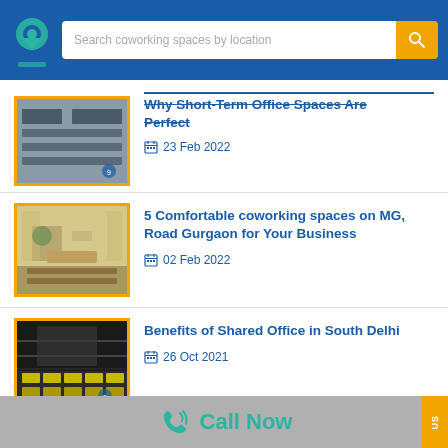Search coworking spaces by location
[Figure (photo): Office space with desks and chairs - thumbnail for blog post about short-term office spaces]
Why Short Term Office Spaces Are Perfect
23 Feb 2022
[Figure (photo): Bright coworking space with long table and chairs - thumbnail for blog about MG Road Gurgaon]
5 Comfortable coworking spaces on MG, Road Gurgaon for Your Business
02 Feb 2022
[Figure (photo): Dark shared office with rows of computers - thumbnail for blog about South Delhi]
Benefits of Shared Office in South Delhi
26 Oct 2021
Call Now